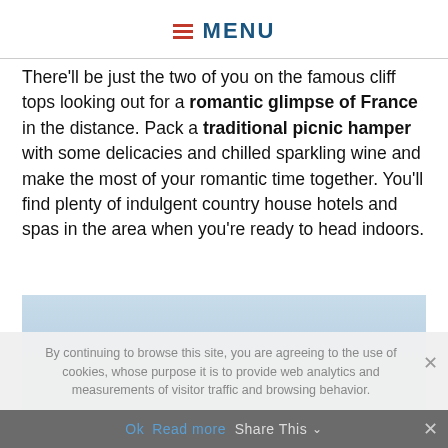≡ MENU
There'll be just the two of you on the famous cliff tops looking out for a romantic glimpse of France in the distance. Pack a traditional picnic hamper with some delicacies and chilled sparkling wine and make the most of your romantic time together. You'll find plenty of indulgent country house hotels and spas in the area when you're ready to head indoors.
[Figure (photo): Scenic coastal view showing a wide expanse of pale blue sky over distant land and sea horizon]
By continuing to browse this site, you are agreeing to the use of cookies, whose purpose it is to provide web analytics and measurements of visitor traffic and browsing behavior.
Ok  Read more  Share This